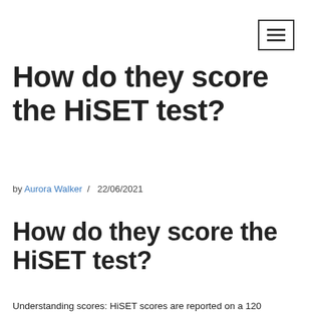☰
How do they score the HiSET test?
by Aurora Walker / 22/06/2021
How do they score the HiSET test?
Understanding scores: HiSET scores are reported on a 120